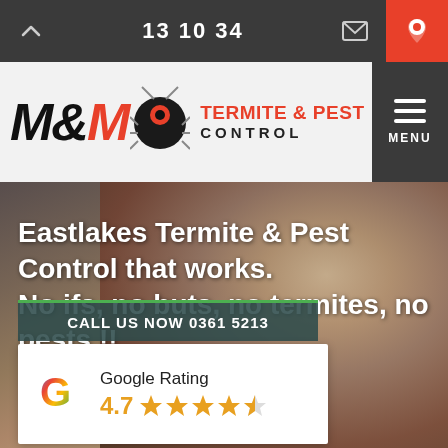13 10 34
[Figure (logo): M&M Termite & Pest Control logo with stylized text and bug icon]
Eastlakes Termite & Pest Control that works. No ifs, no buts, no termites, no pests !!
CALL US NOW 0361 5213
Google Rating 4.7